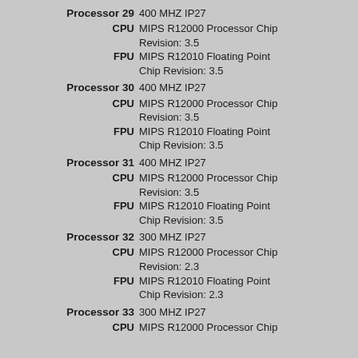Processor 29  400 MHZ IP27
CPU  MIPS R12000 Processor Chip Revision: 3.5
FPU  MIPS R12010 Floating Point Chip Revision: 3.5
Processor 30  400 MHZ IP27
CPU  MIPS R12000 Processor Chip Revision: 3.5
FPU  MIPS R12010 Floating Point Chip Revision: 3.5
Processor 31  400 MHZ IP27
CPU  MIPS R12000 Processor Chip Revision: 3.5
FPU  MIPS R12010 Floating Point Chip Revision: 3.5
Processor 32  300 MHZ IP27
CPU  MIPS R12000 Processor Chip Revision: 2.3
FPU  MIPS R12010 Floating Point Chip Revision: 2.3
Processor 33  300 MHZ IP27
CPU  MIPS R12000 Processor Chip